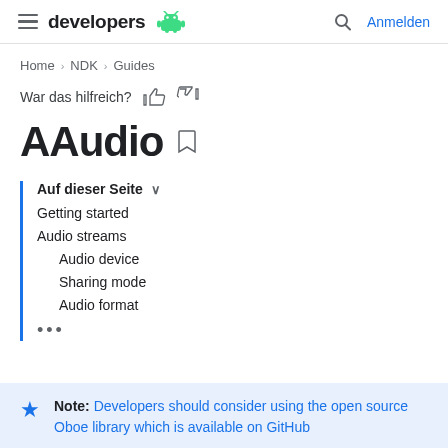developers  [Android logo]   [Search]  Anmelden
Home > NDK > Guides
War das hilfreich? [thumbs up] [thumbs down]
AAudio
Auf dieser Seite  ∨
Getting started
Audio streams
Audio device
Sharing mode
Audio format
•••
Note: Developers should consider using the open source Oboe library which is available on GitHub